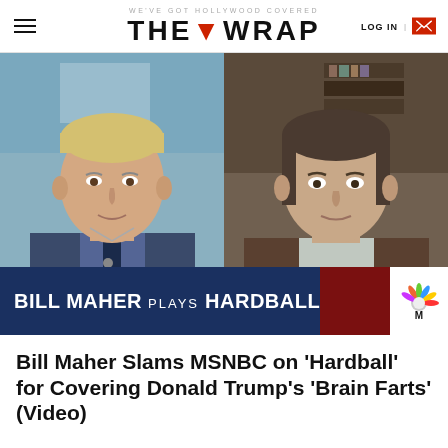WE'VE GOT HOLLYWOOD COVERED — THE WRAP — LOG IN
[Figure (photo): Split-screen TV screenshot showing two men on MSNBC Hardball. Left: older blond man in suit and patterned tie (Chris Matthews). Right: dark-haired man in casual jacket (Bill Maher). Lower bar reads 'BILL MAHER PLAYS HARDBALL' with NBC logo.]
Bill Maher Slams MSNBC on 'Hardball' for Covering Donald Trump's 'Brain Farts' (Video)